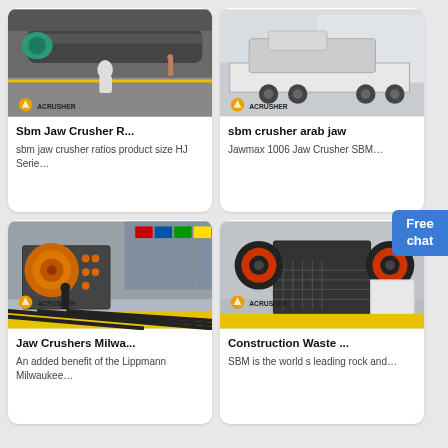[Figure (photo): Industrial conveyor belt/screw equipment in warehouse with worker, ACRUSHER logo overlay]
Sbm Jaw Crusher R...
sbm jaw crusher ratios product size HJ Serie…
[Figure (photo): Mobile jaw crusher on truck trailer in outdoor lot, ACRUSHER logo overlay]
sbm crusher arab jaw
Jawmax 1006 Jaw Crusher SBM…
[Figure (photo): Large jaw crusher machine with orange flywheel and international flags in background, ACRUSHER logo overlay]
Jaw Crushers Milwa...
An added benefit of the Lippmann Milwaukee…
[Figure (photo): Heavy-duty jaw crusher machine in industrial setting, ACRUSHER logo overlay, scroll-up button]
Construction Waste ...
SBM is the world s leading rock and…